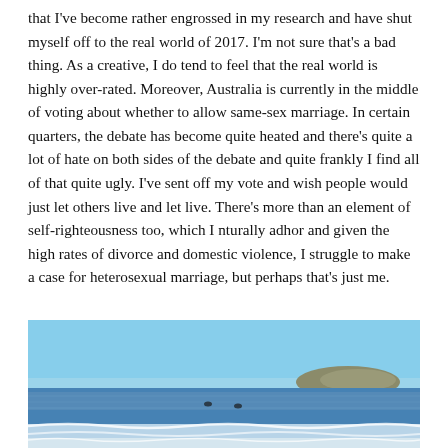that I've become rather engrossed in my research and have shut myself off to the real world of 2017. I'm not sure that's a bad thing. As a creative, I do tend to feel that the real world is highly over-rated. Moreover, Australia is currently in the middle of voting about whether to allow same-sex marriage. In certain quarters, the debate has become quite heated and there's quite a lot of hate on both sides of the debate and quite frankly I find all of that quite ugly. I've sent off my vote and wish people would just let others live and let live. There's more than an element of self-righteousness too, which I nturally adhor and given the high rates of divorce and domestic violence, I struggle to make a case for heterosexual marriage, but perhaps that's just me.
[Figure (photo): Photograph of a coastal ocean scene with blue sky, calm water with small waves, a small island or rocky headland visible on the right horizon, and two people (possibly surfers) in the water.]